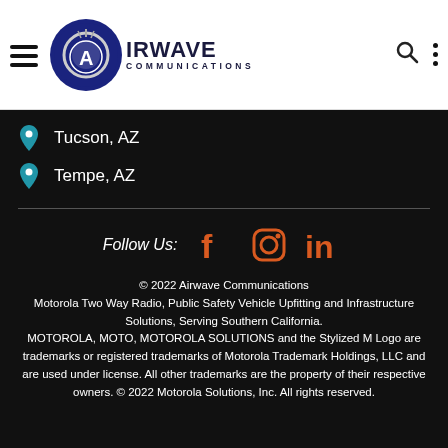[Figure (logo): Airwave Communications logo with dark blue circle containing a gear/antenna icon and 'A', next to text 'AIRWAVE COMMUNICATIONS']
Tucson, AZ
Tempe, AZ
Follow Us: [Facebook] [Instagram] [LinkedIn]
© 2022 Airwave Communications Motorola Two Way Radio, Public Safety Vehicle Upfitting and Infrastructure Solutions, Serving Southern California. MOTOROLA, MOTO, MOTOROLA SOLUTIONS and the Stylized M Logo are trademarks or registered trademarks of Motorola Trademark Holdings, LLC and are used under license. All other trademarks are the property of their respective owners. © 2022 Motorola Solutions, Inc. All rights reserved.